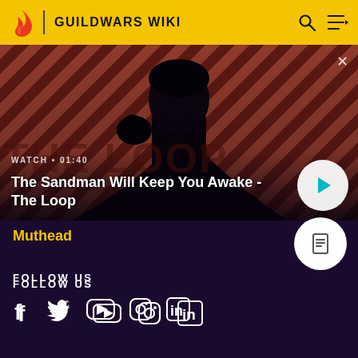GUILDWARS WIKI
[Figure (screenshot): Video thumbnail showing a dark-cloaked figure with a raven on their shoulder against a red-brown diagonal stripe background. Text overlay reads: WATCH • 01:40 / The Sandman Will Keep You Awake - The Loop. A white circular play button is visible on the right.]
Muthead
FOLLOW US
[Figure (infographic): Social media icons: Facebook, Twitter, YouTube, Instagram, LinkedIn]